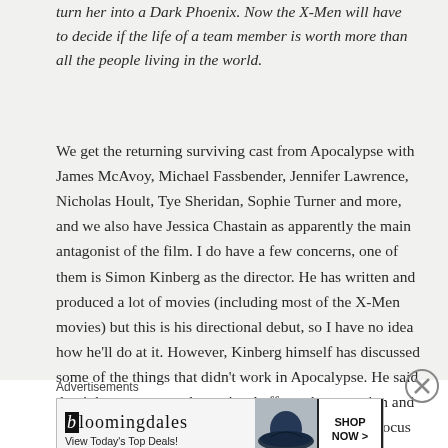turn her into a Dark Phoenix. Now the X-Men will have to decide if the life of a team member is worth more than all the people living in the world.
We get the returning surviving cast from Apocalypse with James McAvoy, Michael Fassbender, Jennifer Lawrence, Nicholas Hoult, Tye Sheridan, Sophie Turner and more, and we also have Jessica Chastain as apparently the main antagonist of the film. I do have a few concerns, one of them is Simon Kinberg as the director. He has written and produced a lot of movies (including most of the X-Men movies) but this is his directional debut, so I have no idea how he'll do at it. However, Kinberg himself has discussed some of the things that didn't work in Apocalypse. He said that it became more about visual effects than emotion and character, and that with Dark Phoenix he wanted to focus more on the
Advertisements
[Figure (other): Bloomingdale's advertisement banner showing logo, 'View Today's Top Deals!' tagline, a woman in a wide-brim hat, and a 'SHOP NOW >' button.]